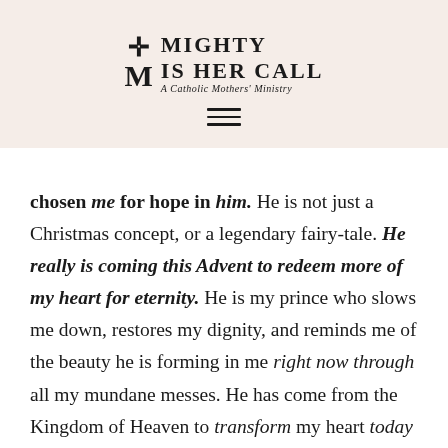[Figure (logo): Mighty Is Her Call logo — a Catholic Mothers' Ministry. Features a cross and stylized M symbol on the left, with the text 'MIGHTY IS HER CALL' in bold uppercase and 'A Catholic Mothers' Ministry' in italic below.]
[Figure (other): Hamburger menu icon — three horizontal lines centered below the logo.]
chosen me for hope in him. He is not just a Christmas concept, or a legendary fairy-tale. He really is coming this Advent to redeem more of my heart for eternity. He is my prince who slows me down, restores my dignity, and reminds me of the beauty he is forming in me right now through all my mundane messes. He has come from the Kingdom of Heaven to transform my heart today—to uncover my belovedness. When I receive this exchange—my emptiness for his presence—I am restored to likeness